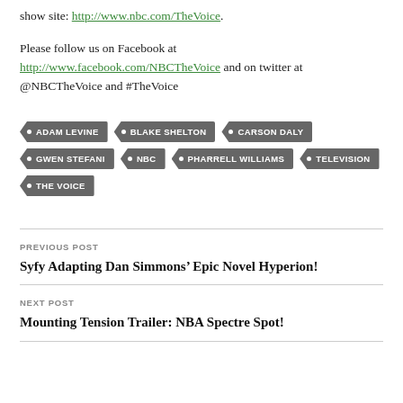show site: http://www.nbc.com/TheVoice.
Please follow us on Facebook at http://www.facebook.com/NBCTheVoice and on twitter at @NBCTheVoice and #TheVoice
ADAM LEVINE
BLAKE SHELTON
CARSON DALY
GWEN STEFANI
NBC
PHARRELL WILLIAMS
TELEVISION
THE VOICE
PREVIOUS POST
Syfy Adapting Dan Simmons’ Epic Novel Hyperion!
NEXT POST
Mounting Tension Trailer: NBA Spectre Spot!